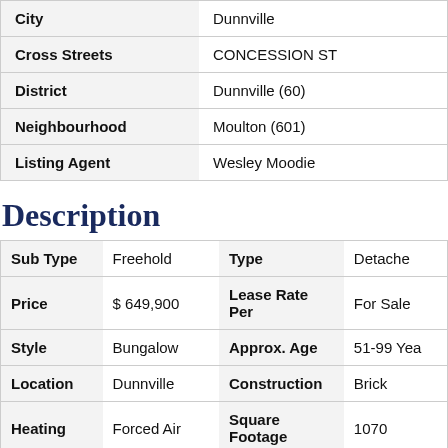| Field | Value |
| --- | --- |
| City | Dunnville |
| Cross Streets | CONCESSION ST |
| District | Dunnville (60) |
| Neighbourhood | Moulton (601) |
| Listing Agent | Wesley Moodie |
Description
| Field1 | Value1 | Field2 | Value2 |
| --- | --- | --- | --- |
| Sub Type | Freehold | Type | Detached |
| Price | $ 649,900 | Lease Rate Per | For Sale |
| Style | Bungalow | Approx. Age | 51-99 Years |
| Location | Dunnville | Construction | Brick |
| Heating | Forced Air | Square Footage | 1070 |